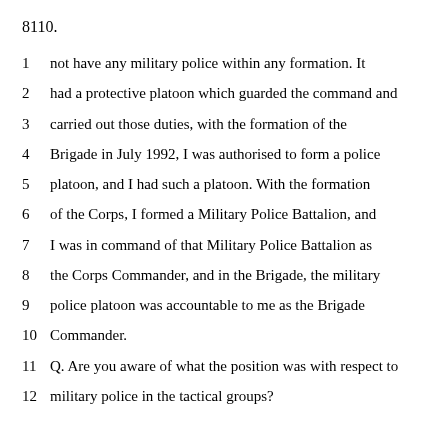8110.
1 not have any military police within any formation. It
2 had a protective platoon which guarded the command and
3 carried out those duties, with the formation of the
4 Brigade in July 1992, I was authorised to form a police
5 platoon, and I had such a platoon. With the formation
6 of the Corps, I formed a Military Police Battalion, and
7 I was in command of that Military Police Battalion as
8 the Corps Commander, and in the Brigade, the military
9 police platoon was accountable to me as the Brigade
10 Commander.
11 Q. Are you aware of what the position was with respect to
12 military police in the tactical groups?